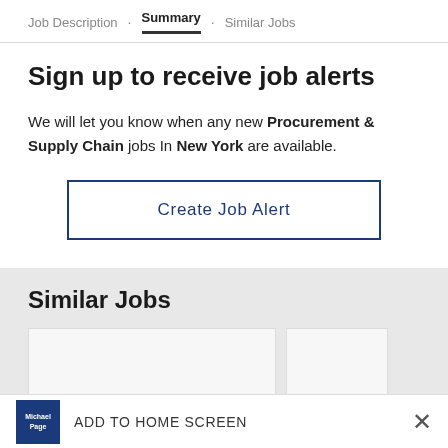Job Description · Summary · Similar Jobs
Sign up to receive job alerts
We will let you know when any new Procurement & Supply Chain jobs In New York are available.
Create Job Alert
Similar Jobs
Planning Asociate
Buyer - M
ADD TO HOME SCREEN